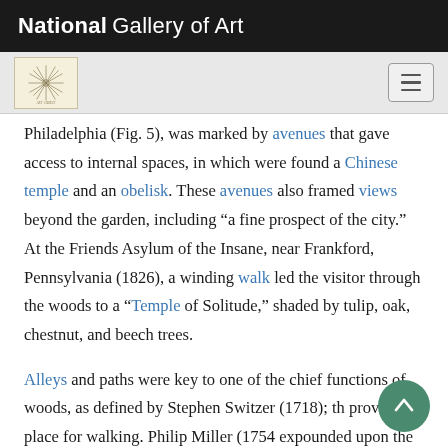National Gallery of Art
Philadelphia (Fig. 5), was marked by avenues that gave access to internal spaces, in which were found a Chinese temple and an obelisk. These avenues also framed views beyond the garden, including “a fine prospect of the city.” At the Friends Asylum of the Insane, near Frankford, Pennsylvania (1826), a winding walk led the visitor through the woods to a “Temple of Solitude,” shaded by tulip, oak, chestnut, and beech trees.
Alleys and paths were key to one of the chief functions of woods, as defined by Stephen Switzer (1718); th provided a place for walking. Philip Miller (1754 expounded upon the “Necessity of twisting of the